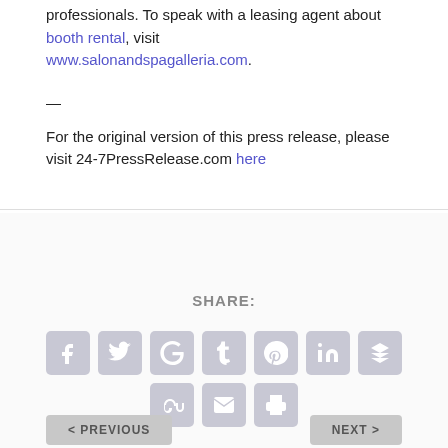professionals. To speak with a leasing agent about booth rental, visit www.salonandspagalleria.com.
—
For the original version of this press release, please visit 24-7PressRelease.com here
SHARE:
[Figure (other): Social media share icons: Facebook, Twitter, Google+, Tumblr, Pinterest, LinkedIn, Buffer (top row); StumbleUpon, Email, Print (bottom row)]
< PREVIOUS    NEXT >